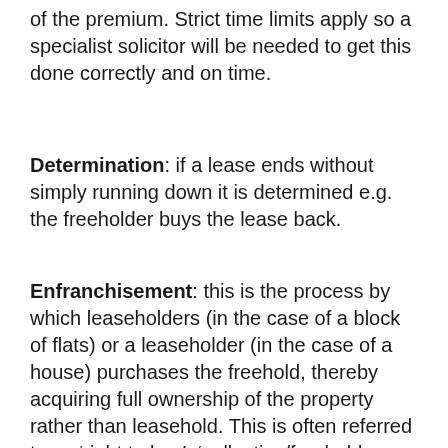of the premium. Strict time limits apply so a specialist solicitor will be needed to get this done correctly and on time.
Determination: if a lease ends without simply running down it is determined e.g. the freeholder buys the lease back.
Enfranchisement: this is the process by which leaseholders (in the case of a block of flats) or a leaseholder (in the case of a house) purchases the freehold, thereby acquiring full ownership of the property rather than leasehold. This is often referred to as ‘right to buy’, ‘collective/freehold or leasehold enfranchisement’ or ‘freehold purchase’. Under certain circumstances leaseholders will have the right to compel freeholders to sell the freehold